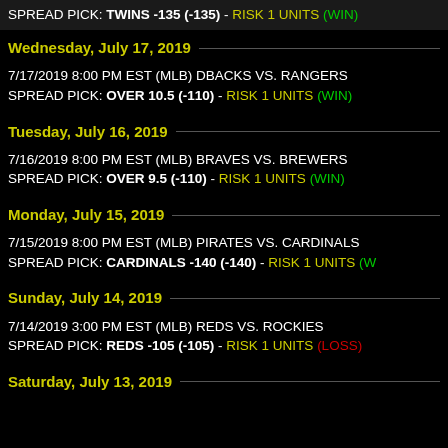SPREAD PICK: TWINS -135 (-135) - RISK 1 UNITS (WIN)
Wednesday, July 17, 2019
7/17/2019 8:00 PM EST (MLB) DBACKS VS. RANGERS
SPREAD PICK: OVER 10.5 (-110) - RISK 1 UNITS (WIN)
Tuesday, July 16, 2019
7/16/2019 8:00 PM EST (MLB) BRAVES VS. BREWERS
SPREAD PICK: OVER 9.5 (-110) - RISK 1 UNITS (WIN)
Monday, July 15, 2019
7/15/2019 8:00 PM EST (MLB) PIRATES VS. CARDINALS
SPREAD PICK: CARDINALS -140 (-140) - RISK 1 UNITS (W
Sunday, July 14, 2019
7/14/2019 3:00 PM EST (MLB) REDS VS. ROCKIES
SPREAD PICK: REDS -105 (-105) - RISK 1 UNITS (LOSS)
Saturday, July 13, 2019